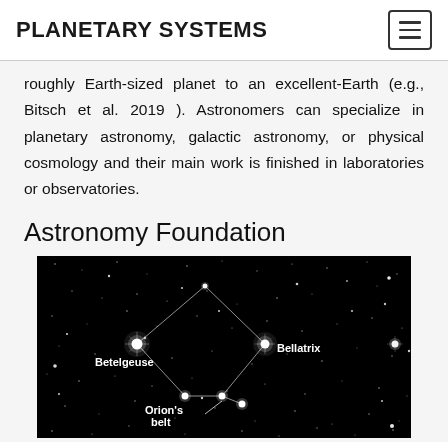PLANETARY SYSTEMS
roughly Earth-sized planet to an excellent-Earth (e.g., Bitsch et al. 2019 ). Astronomers can specialize in planetary astronomy, galactic astronomy, or physical cosmology and their main work is finished in laboratories or observatories.
Astronomy Foundation
[Figure (photo): A star chart on a black background showing constellations with labeled stars: Betelgeuse, Bellatrix, and Orion's belt, connected by white lines.]